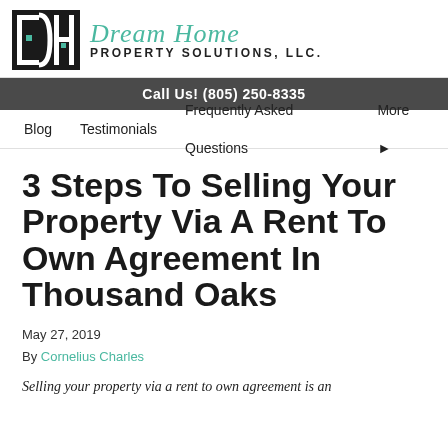[Figure (logo): Dream Home Property Solutions, LLC. logo with DH icon and teal script text]
Call Us! (805) 250-8335
Blog   Testimonials   Frequently Asked Questions   More ▸
3 Steps To Selling Your Property Via A Rent To Own Agreement In Thousand Oaks
May 27, 2019
By Cornelius Charles
Selling your property via a rent to own agreement is an